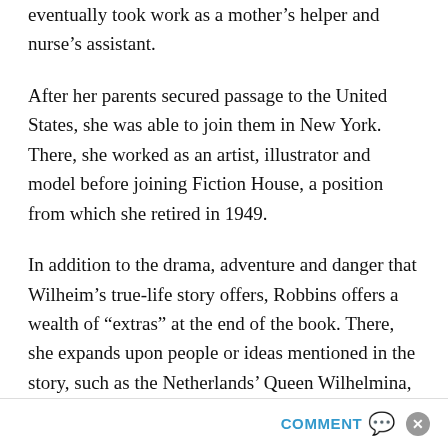eventually took work as a mother’s helper and nurse’s assistant.
After her parents secured passage to the United States, she was able to join them in New York. There, she worked as an artist, illustrator and model before joining Fiction House, a position from which she retired in 1949.
In addition to the drama, adventure and danger that Wilheim’s true-life story offers, Robbins offers a wealth of “extras” at the end of the book. There, she expands upon people or ideas mentioned in the story, such as the Netherlands’ Queen Wilhelmina, the
COMMENT